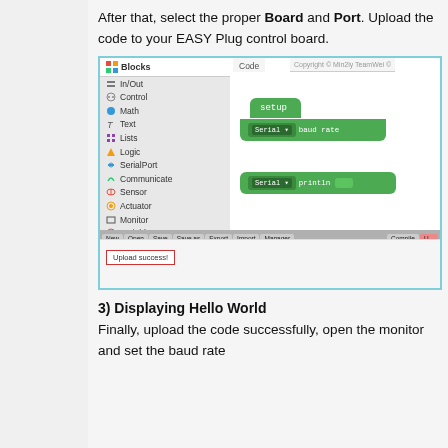After that, select the proper Board and Port. Upload the code to your EASY Plug control board.
[Figure (screenshot): Screenshot of a block-based coding IDE showing a sidebar menu with items: Blocks, In/Out, Control, Math, Text, Lists, Logic, SerialPort, Communicate, Sensor, Actuator, Monitor, Variables, Functions. The code area shows green blocks for 'setup' with 'Serial baud rate' and 'Serial println'. A toolbar at the bottom shows New, Open, Save, Save as, Export, Import, Manager, Compile, Upload buttons. A status bar shows 'Upload success!' in a red-bordered box.]
3) Displaying Hello World
Finally, upload the code successfully, open the monitor and set the baud rate